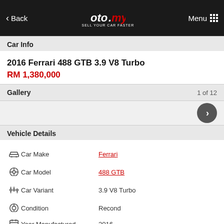Back | oto.my SELL YOUR CAR FASTER | Menu
Car Info
2016 Ferrari 488 GTB 3.9 V8 Turbo
RM 1,380,000
Gallery  1 of 12
Vehicle Details
| Icon | Field | Value |
| --- | --- | --- |
| car | Car Make | Ferrari |
| model | Car Model | 488 GTB |
| variant | Car Variant | 3.9 V8 Turbo |
| condition | Condition | Recond |
| year | Year Manufactured | 2016 |
| transmission | Transmission | Automatic |
| engine | Engine Capacity | 3.9l |